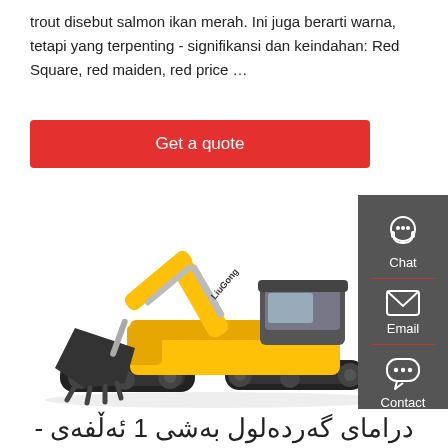trout disebut salmon ikan merah. Ini juga berarti warna, tetapi yang terpenting - signifikansi dan keindahan: Red Square, red maiden, red price …
Get a quote
[Figure (photo): Yellow LiuGong excavator/crawler excavator on white background]
[Figure (infographic): Dark grey sidebar with Chat (headset icon), Email (envelope icon), and Contact (speech bubble icon) options]
دراماى گەردەلول بەشى 1 ئەڵفەى -